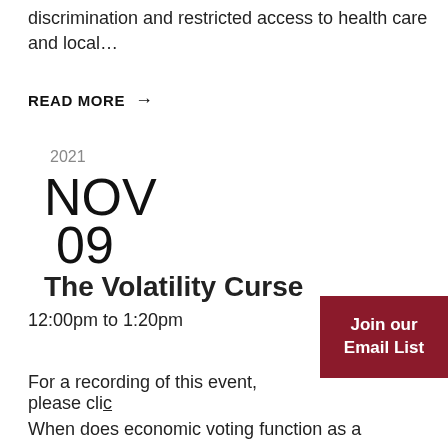discrimination and restricted access to health care and local…
READ MORE →
2021
NOV
09
The Volatility Curse
12:00pm to 1:20pm
For a recording of this event, please clic…
Join our Email List
When does economic voting function as a